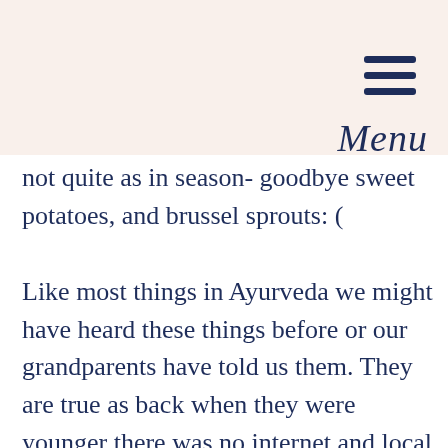Menu
not quite as in season- goodbye sweet potatoes, and brussel sprouts: (
Like most things in Ayurveda we might have heard these things before or our grandparents have told us them. They are true as back when they were younger there was no internet and local libraries were not quite as well read as they are now a days. They learned this